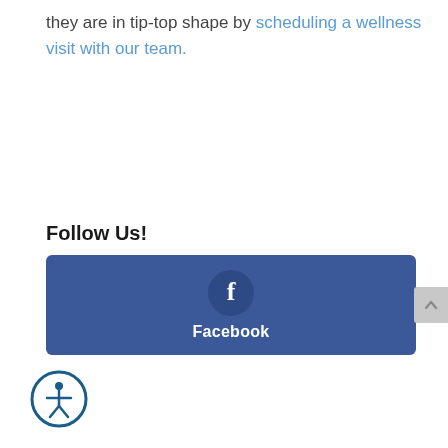they are in tip-top shape by scheduling a wellness visit with our team.
Follow Us!
[Figure (other): Facebook social media button with Facebook logo icon and label 'Facebook' on a blue background]
[Figure (other): Accessibility icon - circle with stylized person figure]